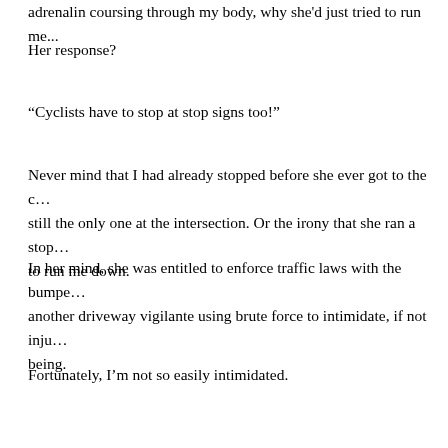adrenalin coursing through my body, why she'd just tried to run me...
Her response?
“Cyclists have to stop at stop signs too!”
Never mind that I had already stopped before she ever got to the c... still the only one at the intersection. Or the irony that she ran a stop... to run me down.
In her mind, she was entitled to enforce traffic laws with the bumpe... another driveway vigilante using brute force to intimidate, if not inju... being.
Fortunately, I’m not so easily intimidated.
I would have loved to continue the conversation, but she quickly cu... lane she was in to make a quick right in front of high-speed traffic i... from me.
Evidently, I scared her, even though she was the one wrapped in s... and glass. And I wasn’t the one who’d just tried to attack someone.
Though I did break my Lenten vow to not swear at drivers, however...